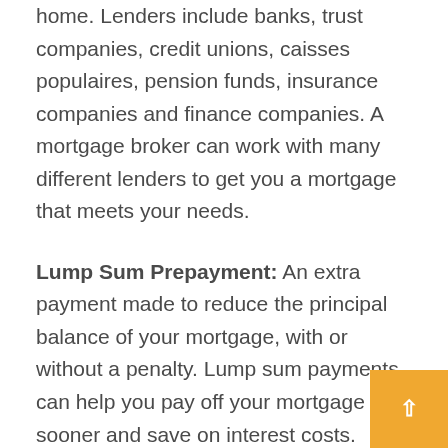home. Lenders include banks, trust companies, credit unions, caisses populaires, pension funds, insurance companies and finance companies. A mortgage broker can work with many different lenders to get you a mortgage that meets your needs.
Lump Sum Prepayment: An extra payment made to reduce the principal balance of your mortgage, with or without a penalty. Lump sum payments can help you pay off your mortgage sooner and save on interest costs.
Maturity Date: The last day of the term of the mortgage. On this day, the mortgage loan must either be paid in full or renewed.